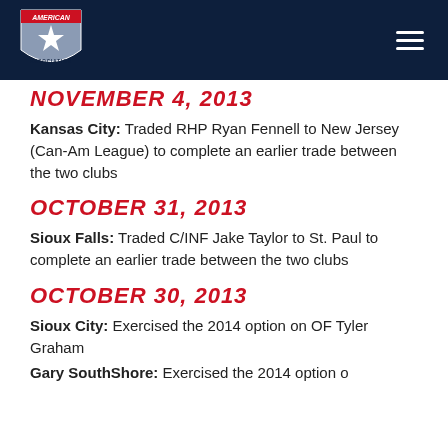American Association — navigation header
NOVEMBER 4, 2013
Kansas City: Traded RHP Ryan Fennell to New Jersey (Can-Am League) to complete an earlier trade between the two clubs
OCTOBER 31, 2013
Sioux Falls: Traded C/INF Jake Taylor to St. Paul to complete an earlier trade between the two clubs
OCTOBER 30, 2013
Sioux City: Exercised the 2014 option on OF Tyler Graham
Gary SouthShore: Exercised the 2014 option on…